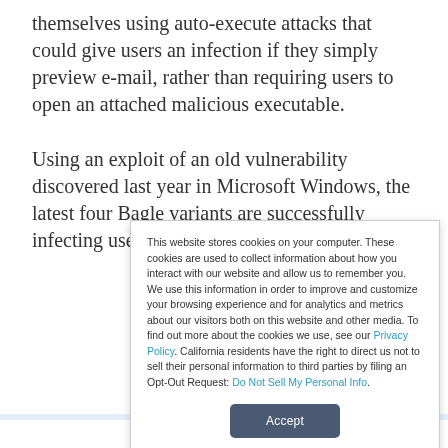themselves using auto-execute attacks that could give users an infection if they simply preview e-mail, rather than requiring users to open an attached malicious executable.
Using an exploit of an old vulnerability discovered last year in Microsoft Windows, the latest four Bagle variants are successfully infecting users in Asia and the United States,
This website stores cookies on your computer. These cookies are used to collect information about how you interact with our website and allow us to remember you. We use this information in order to improve and customize your browsing experience and for analytics and metrics about our visitors both on this website and other media. To find out more about the cookies we use, see our Privacy Policy. California residents have the right to direct us not to sell their personal information to third parties by filing an Opt-Out Request: Do Not Sell My Personal Info.
Accept